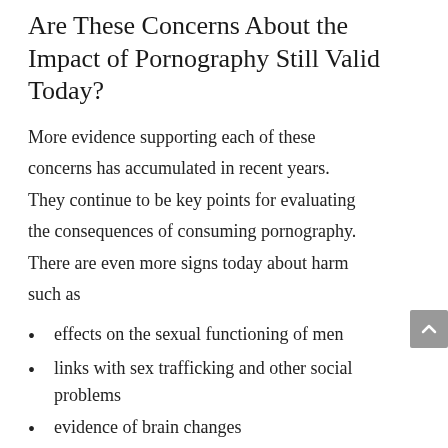Are These Concerns About the Impact of Pornography Still Valid Today?
More evidence supporting each of these concerns has accumulated in recent years. They continue to be key points for evaluating the consequences of consuming pornography. There are even more signs today about harm such as
effects on the sexual functioning of men
links with sex trafficking and other social problems
evidence of brain changes
the devastating results of sexting, revenge porn, and public display of stolen personal photos